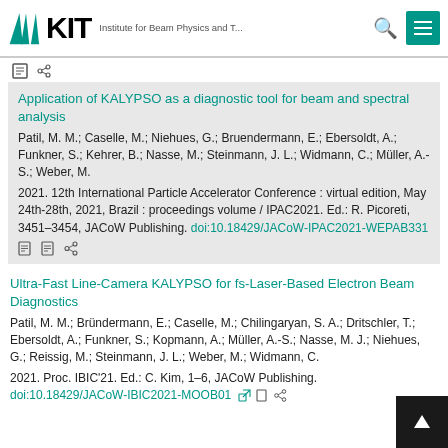KIT — Institute for Beam Physics and T...
[share icons row]
Application of KALYPSO as a diagnostic tool for beam and spectral analysis
Patil, M. M.; Caselle, M.; Niehues, G.; Bruendermann, E.; Ebersoldt, A.; Funkner, S.; Kehrer, B.; Nasse, M.; Steinmann, J. L.; Widmann, C.; Müller, A.-S.; Weber, M.
2021. 12th International Particle Accelerator Conference : virtual edition, May 24th-28th, 2021, Brazil : proceedings volume / IPAC2021. Ed.: R. Picoreti, 3451–3454, JACoW Publishing. doi:10.18429/JACoW-IPAC2021-WEPAB331
Ultra-Fast Line-Camera KALYPSO for fs-Laser-Based Electron Beam Diagnostics
Patil, M. M.; Bründermann, E.; Caselle, M.; Chilingaryan, S. A.; Dritschler, T.; Ebersoldt, A.; Funkner, S.; Kopmann, A.; Müller, A.-S.; Nasse, M. J.; Niehues, G.; Reissig, M.; Steinmann, J. L.; Weber, M.; Widmann, C.
2021. Proc. IBIC'21. Ed.: C. Kim, 1–6, JACoW Publishing. doi:10.18429/JACoW-IBIC2021-MOOB01